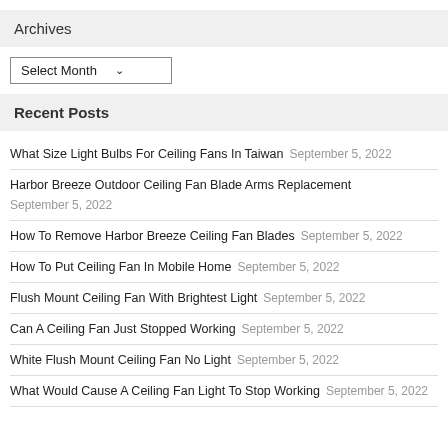Archives
Select Month
Recent Posts
What Size Light Bulbs For Ceiling Fans In Taiwan  September 5, 2022
Harbor Breeze Outdoor Ceiling Fan Blade Arms Replacement  September 5, 2022
How To Remove Harbor Breeze Ceiling Fan Blades  September 5, 2022
How To Put Ceiling Fan In Mobile Home  September 5, 2022
Flush Mount Ceiling Fan With Brightest Light  September 5, 2022
Can A Ceiling Fan Just Stopped Working  September 5, 2022
White Flush Mount Ceiling Fan No Light  September 5, 2022
What Would Cause A Ceiling Fan Light To Stop Working  September 5, 2022